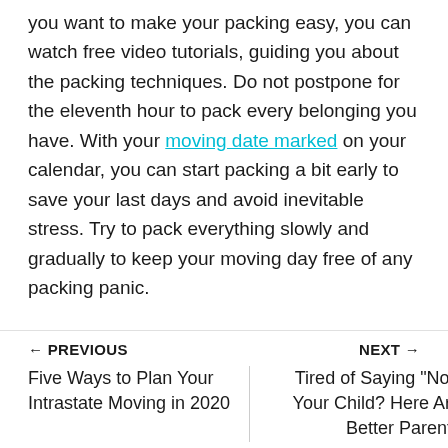you want to make your packing easy, you can watch free video tutorials, guiding you about the packing techniques. Do not postpone for the eleventh hour to pack every belonging you have. With your moving date marked on your calendar, you can start packing a bit early to save your last days and avoid inevitable stress. Try to pack everything slowly and gradually to keep your moving day free of any packing panic.
← PREVIOUS    NEXT →
Five Ways to Plan Your Intrastate Moving in 2020
Tired of Saying "No" to Your Child? Here Are 5 Better Parenting